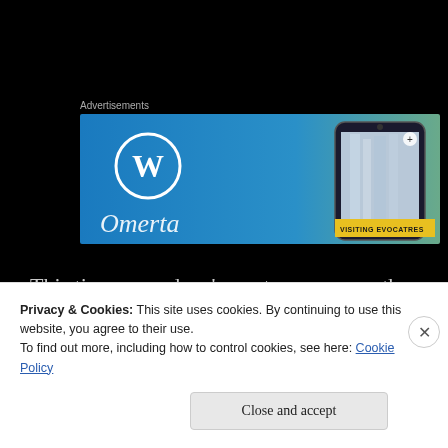Advertisements
[Figure (screenshot): Advertisement banner showing WordPress logo on blue/teal gradient background with a smartphone image on the right side showing a photo app interface]
This time around we've got our eyes on the Ragnarssons. As you'll learn, there are a lot of them. So many, in fact, that we don't even get to your
Privacy & Cookies: This site uses cookies. By continuing to use this website, you agree to their use.
To find out more, including how to control cookies, see here: Cookie Policy
Close and accept